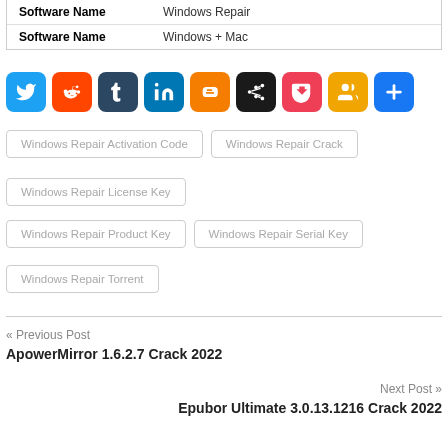| Software Name | Windows Repair |
| Software Name | Windows + Mac |
[Figure (other): Row of social sharing icon buttons: Twitter (blue), Reddit (orange), Tumblr (dark blue), LinkedIn (teal), Blogger (orange), a network/share icon (black), Pocket (pink/red), a group/people icon (yellow-orange), and a plus/add button (blue)]
Windows Repair Activation Code
Windows Repair Crack
Windows Repair License Key
Windows Repair Product Key
Windows Repair Serial Key
Windows Repair Torrent
« Previous Post
ApowerMirror 1.6.2.7 Crack 2022
Next Post »
Epubor Ultimate 3.0.13.1216 Crack 2022